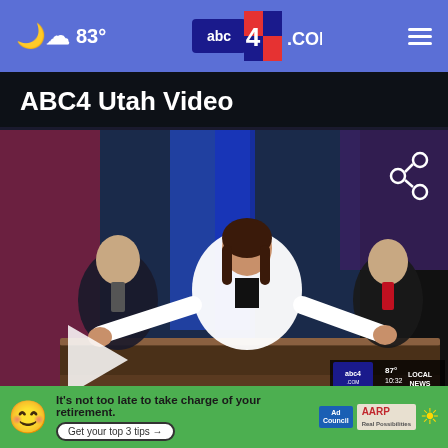83° abc4.com
ABC4 Utah Video
[Figure (screenshot): ABC4 Utah news studio screenshot showing three anchors at a news desk. A female anchor in white jacket stands in the center with arms spread wide, flanked by two male anchors. A share icon is visible top right. A play button is visible bottom left. News ticker at bottom reads: 'VIT USED FOR FBI SEARCH OF TRUMP'S ESTATE BEFORE POS...' with a close X button. A small mini-player with abc4.com logo shows in the bottom right.]
[Figure (screenshot): AARP advertisement banner with green background. Shows a cartoon face emoji, text 'It's not too late to take charge of your retirement.' with a 'Get your top 3 tips →' button, Ad Council logo, AARP Real Possibilities logo, and a sun/coin icon.]